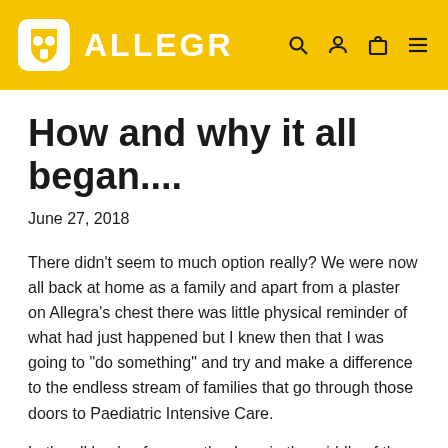ALLEGR
How and why it all began....
June 27, 2018
There didn't seem to much option really? We were now all back at home as a family and apart from a plaster on Allegra's chest there was little physical reminder of what had just happened but I knew then that I was going to "do something" and try and make a difference to the endless stream of families that go through those doors to Paediatric Intensive Care.
Let's roll back a few months. I am in the middle of the Sahara